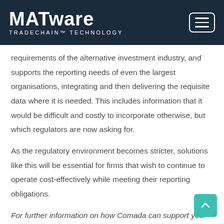MATware TRADECHAIN™ TECHNOLOGY
requirements of the alternative investment industry, and supports the reporting needs of even the largest organisations, integrating and then delivering the requisite data where it is needed. This includes information that it would be difficult and costly to incorporate otherwise, but which regulators are now asking for.
As the regulatory environment becomes stricter, solutions like this will be essential for firms that wish to continue to operate cost-effectively while meeting their reporting obligations.
For further information on how Comada can support your regulatory reporting,